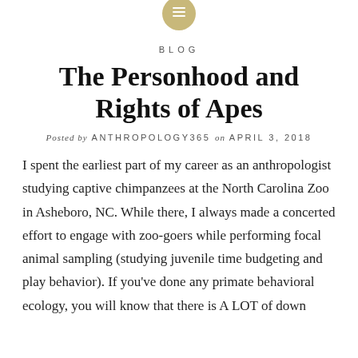BLOG
The Personhood and Rights of Apes
Posted by ANTHROPOLOGY365 on APRIL 3, 2018
I spent the earliest part of my career as an anthropologist studying captive chimpanzees at the North Carolina Zoo in Asheboro, NC. While there, I always made a concerted effort to engage with zoo-goers while performing focal animal sampling (studying juvenile time budgeting and play behavior). If you've done any primate behavioral ecology, you will know that there is A LOT of down